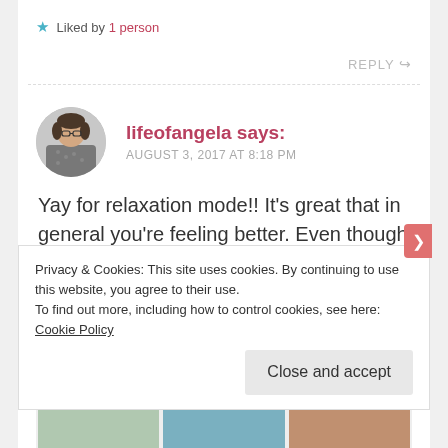★ Liked by 1 person
REPLY ↩
lifeofangela says: AUGUST 3, 2017 AT 8:18 PM
Yay for relaxation mode!! It's great that in general you're feeling better. Even though you haven't been blogging much or doing house cleaning things, it sounds like maybe been
Privacy & Cookies: This site uses cookies. By continuing to use this website, you agree to their use.
To find out more, including how to control cookies, see here:
Cookie Policy
Close and accept